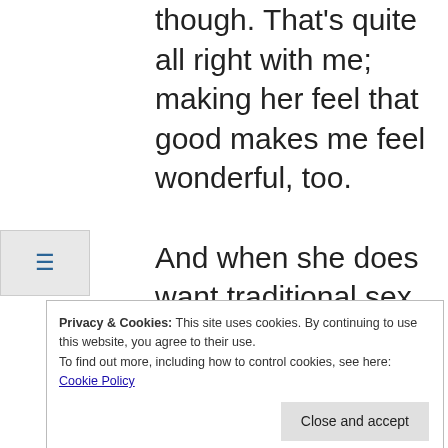though. That's quite all right with me; making her feel that good makes me feel wonderful, too.

And when she does want traditional sex, it's because she's feeling close, and wants to express that and feel even closer. Those times make me almost tearful with happiness, and I'd hate to think
Privacy & Cookies: This site uses cookies. By continuing to use this website, you agree to their use.
To find out more, including how to control cookies, see here:
Cookie Policy
Close and accept
REPLY